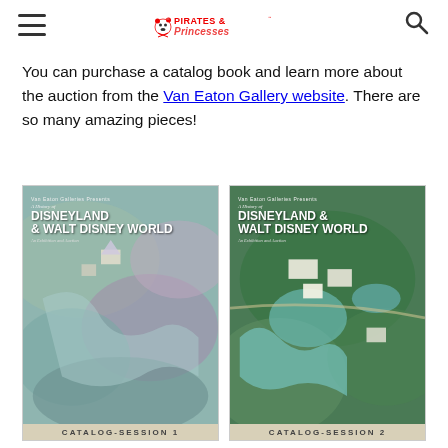Pirates & Princesses
You can purchase a catalog book and learn more about the auction from the Van Eaton Gallery website. There are so many amazing pieces!
[Figure (photo): Two catalog book covers for 'Van Eaton Galleries Presents A History of Disneyland & Walt Disney World: An Exhibition and Auction'. Left cover shows Catalog-Session 1 with a purple/teal aerial map of Disneyland. Right cover shows Catalog-Session 2 with a green aerial map of Walt Disney World.]